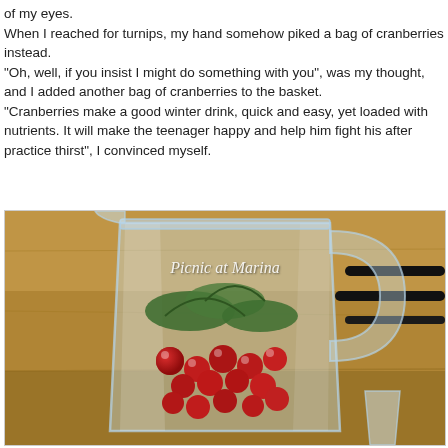of my eyes. When I reached for turnips, my hand somehow piked a bag of cranberries instead. "Oh, well, if you insist I might do something with you", was my thought, and I added another bag of cranberries to the basket. "Cranberries make a good winter drink, quick and easy, yet loaded with nutrients. It will make the teenager happy and help him fight his after practice thirst", I convinced myself.
[Figure (photo): Photo of a glass blender filled with cranberries and green leaves, sitting on a wooden surface. The blender is transparent showing red cranberries inside. A watermark reads 'Picnic at Marina' in italic white text.]